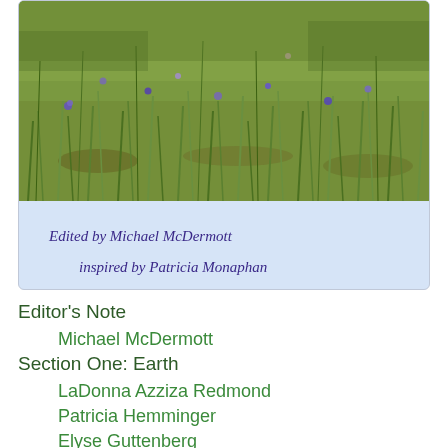[Figure (photo): Photo of a grassy wildflower meadow with purple/blue flowers, appearing on the cover of a book. Below the photo on a light blue background is handwritten-style text reading 'Edited by Michael McDermott' and 'inspired by Patricia Monaphan' in purple.]
Editor's Note
Michael McDermott
Section One: Earth
LaDonna Azziza Redmond
Patricia Hemminger
Elyse Guttenberg
Mike Corum
Lyn Lifshin